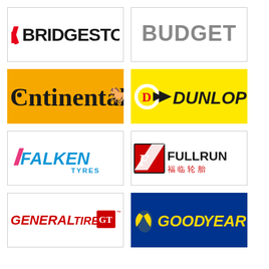[Figure (logo): Bridgestone logo - black text with red diagonal slash on white background]
[Figure (logo): Budget logo - gray text on white background]
[Figure (logo): Continental logo - black text with horse on orange background]
[Figure (logo): Dunlop logo - black bold italic text with arrow emblem on yellow background]
[Figure (logo): Falken Tyres logo - blue and pink text on white background]
[Figure (logo): Fullrun logo - red and black with Chinese characters on white background]
[Figure (logo): General Tire logo - red text with GT emblem on white background]
[Figure (logo): Goodyear logo - yellow italic text on blue background]